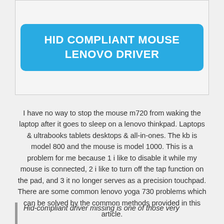HID COMPLIANT MOUSE LENOVO DRIVER
I have no way to stop the mouse m720 from waking the laptop after it goes to sleep on a lenovo thinkpad. Laptops & ultrabooks tablets desktops & all-in-ones. The kb is model 800 and the mouse is model 1000. This is a problem for me because 1 i like to disable it while my mouse is connected, 2 i like to turn off the tap function on the pad, and 3 it no longer serves as a precision touchpad. There are some common lenovo yoga 730 problems which can be solved by the common methods provided in this article.
Hid-compliant driver missing is one of those very